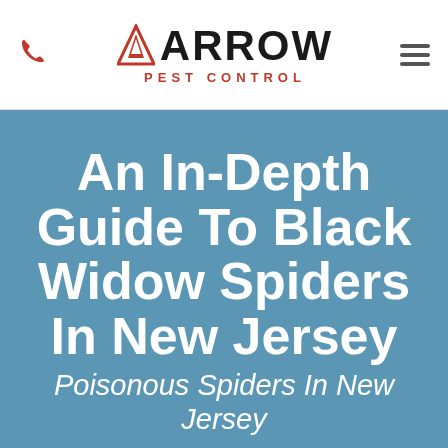[Figure (logo): Arrow Pest Control logo with red triangle/arrow icon and 'ARROW' in bold black text, 'PEST CONTROL' in red below]
An In-Depth Guide To Black Widow Spiders In New Jersey
Poisonous Spiders In New Jersey